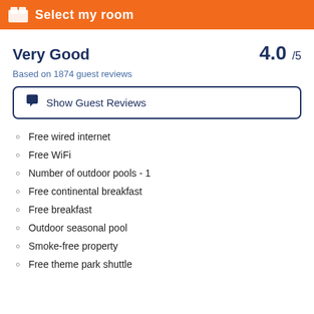Select my room
Very Good
4.0 /5
Based on 1874 guest reviews
Show Guest Reviews
Free wired internet
Free WiFi
Number of outdoor pools - 1
Free continental breakfast
Free breakfast
Outdoor seasonal pool
Smoke-free property
Free theme park shuttle